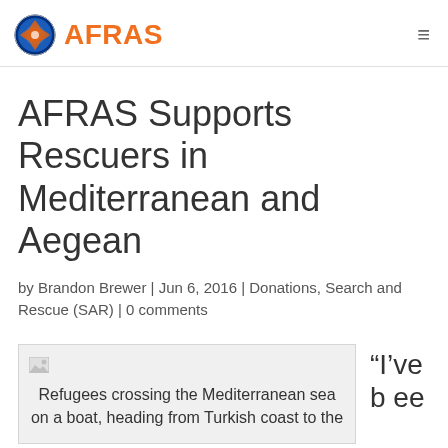AFRAS
AFRAS Supports Rescuers in Mediterranean and Aegean
by Brandon Brewer | Jun 6, 2016 | Donations, Search and Rescue (SAR) | 0 comments
[Figure (photo): Broken image placeholder with caption: Refugees crossing the Mediterranean sea on a boat, heading from Turkish coast to the...]
“I’ve b ee